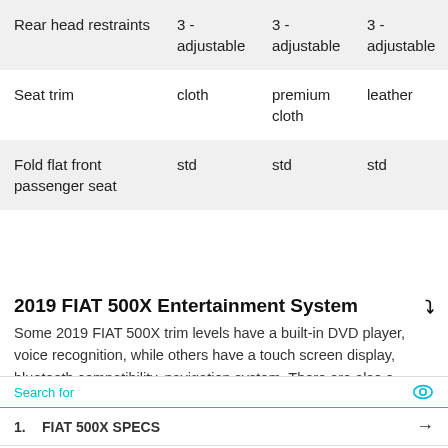|  |  |  |  |
| --- | --- | --- | --- |
| Rear head restraints | 3 - adjustable | 3 - adjustable | 3 - adjustable |
| Seat trim | cloth | premium cloth | leather |
| Fold flat front passenger seat | std | std | std |
2019 FIAT 500X Entertainment System
Some 2019 FIAT 500X trim levels have a built-in DVD player, voice recognition, while others have a touch screen display, bluetooth compatibility, navigation system. There are also a variety of different audio options, so be sure to compare the
[Figure (screenshot): Search widget overlay with search bar showing 'Search for' with eye icon, two ad links: 1. FIAT 500X SPECS and 2. DEALS ON FIAT 500X, each with arrow icons, and a play icon at the bottom right.]